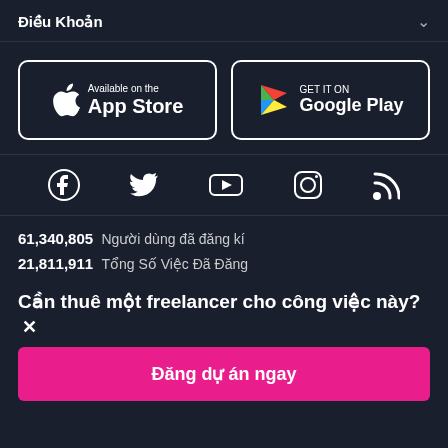Điều Khoản
[Figure (logo): App Store badge button with Apple logo and text 'Available on the App Store']
[Figure (logo): Google Play badge button with Play logo and text 'GET IT ON Google Play']
[Figure (infographic): Social media icons row: Facebook, Twitter, YouTube, Instagram, RSS feed]
61,340,805  Người dùng đã đăng kí
21,811,911  Tổng Số Việc Đã Đăng
Cần thuê một freelancer cho công việc này? ×
Đăng dự án ngay